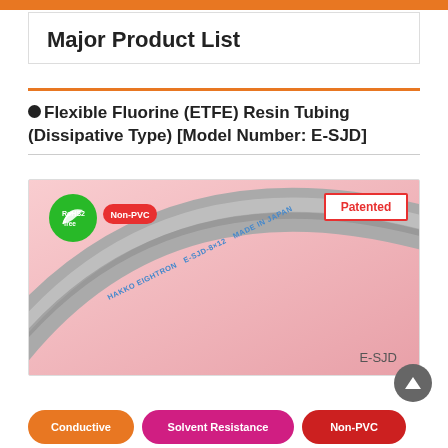Major Product List
●Flexible Fluorine (ETFE) Resin Tubing (Dissipative Type) [Model Number: E-SJD]
[Figure (photo): Photo of gray flexible ETFE resin tubing (model E-SJD) curved in an arc on a pink background. Tubing is labeled 'HAKKO EIGHTRON E-SJD-8×12 MADE IN JAPAN'. Badges in top-left show 'RoHS2 free' (green circle) and 'Non-PVC' (red oval). Top-right shows 'Patented' in red border box. Bottom-right shows 'E-SJD' text label.]
Conductive
Solvent Resistance
Non-PVC